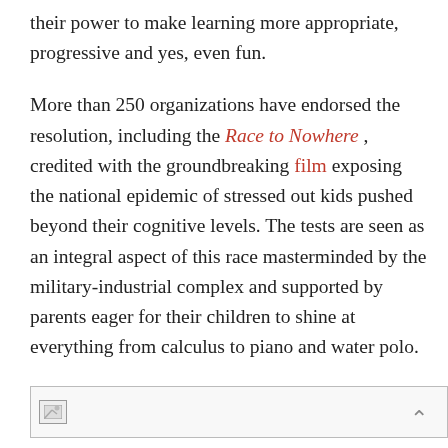their power to make learning more appropriate, progressive and yes, even fun.
More than 250 organizations have endorsed the resolution, including the Race to Nowhere , credited with the groundbreaking film exposing the national epidemic of stressed out kids pushed beyond their cognitive levels. The tests are seen as an integral aspect of this race masterminded by the military-industrial complex and supported by parents eager for their children to shine at everything from calculus to piano and water polo.
[Figure (other): An image placeholder with a broken image icon at bottom of the page]